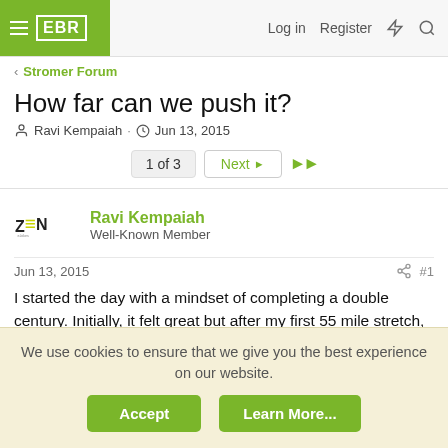EBR | Log in | Register
< Stromer Forum
How far can we push it?
Ravi Kempaiah · Jun 13, 2015
1 of 3  Next ▶  ▶▶
Ravi Kempaiah
Well-Known Member
Jun 13, 2015  #1
I started the day with a mindset of completing a double century. Initially, it felt great but after my first 55 mile stretch, it was lunch time with a friend and ate little too much...
We use cookies to ensure that we give you the best experience on our website.
Accept  Learn More...